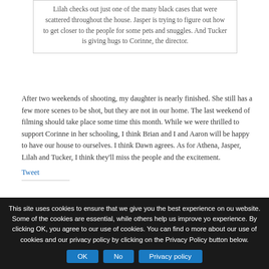Lilah checks out just one of the many black cases that were scattered throughout the house. Jasper is trying to figure out how to get closer to the people for some pets and snuggles. And Tucker is giving hugs to Corinne, the director.
After two weekends of shooting, my daughter is nearly finished. She still has a few more scenes to be shot, but they are not in our home. The last weekend of filming should take place some time this month. While we were thrilled to support Corinne in her schooling, I think Brian and I and Aaron will be happy to have our house to ourselves. I think Dawn agrees. As for Athena, Jasper, Lilah and Tucker, I think they'll miss the people and the excitement.
Tweet
Share this:
Facebook | Twitter | Google | Pinterest
This site uses cookies to ensure that we give you the best experience on our website. Some of the cookies are essential, while others help us improve your experience. By clicking OK, you agree to our use of cookies. You can find out more about our use of cookies and our privacy policy by clicking on the Privacy Policy button below.